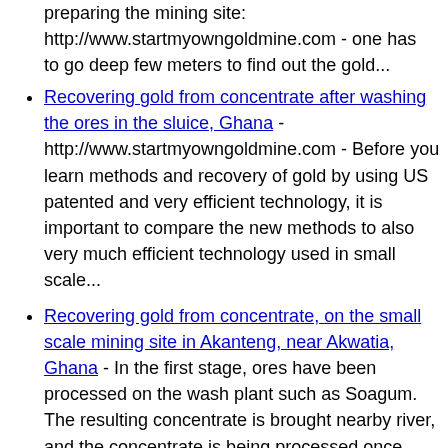preparing the mining site: http://www.startmyowngoldmine.com - one has to go deep few meters to find out the gold...
Recovering gold from concentrate after washing the ores in the sluice, Ghana - http://www.startmyowngoldmine.com - Before you learn methods and recovery of gold by using US patented and very efficient technology, it is important to compare the new methods to also very much efficient technology used in small scale...
Recovering gold from concentrate, on the small scale mining site in Akanteng, near Akwatia, Ghana - In the first stage, ores have been processed on the wash plant such as Soagum. The resulting concentrate is brought nearby river, and the concentrate is being processed once again, to produce concentrate with higher gold content. Small...